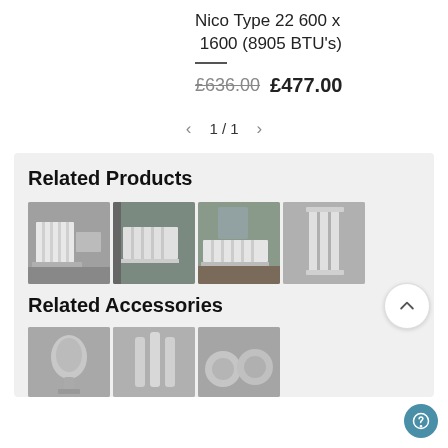Nico Type 22 600 x 1600 (8905 BTU's)
£636.00  £477.00
1 / 1
Related Products
[Figure (photo): Grid of 4 radiator product thumbnail images]
Related Accessories
[Figure (photo): Grid of 3 radiator accessory thumbnail images — thermostatic valve, pipe covers, and fitting kit]